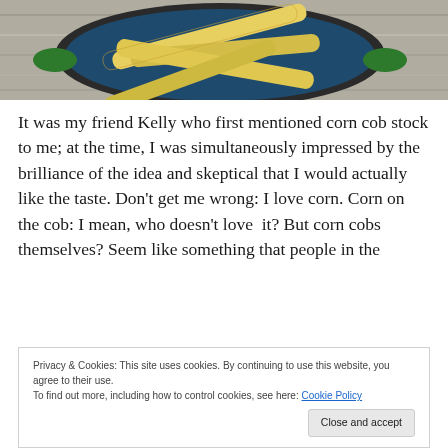[Figure (photo): Overhead photo of corn cobs in a large green-handled pot on a wooden surface]
It was my friend Kelly who first mentioned corn cob stock to me; at the time, I was simultaneously impressed by the brilliance of the idea and skeptical that I would actually like the taste. Don't get me wrong: I love corn. Corn on the cob: I mean, who doesn't love  it? But corn cobs themselves? Seem like something that people in the
Privacy & Cookies: This site uses cookies. By continuing to use this website, you agree to their use.
To find out more, including how to control cookies, see here: Cookie Policy
away. And then, not too long ago, I saw this recipe for